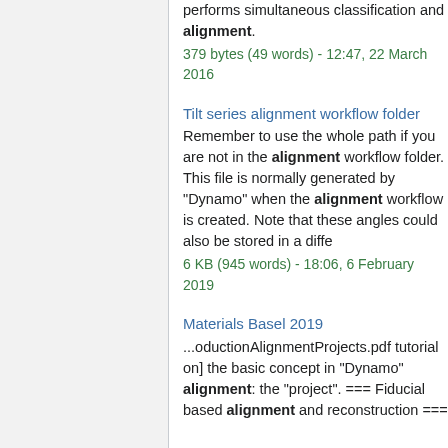performs simultaneous classification and alignment.
379 bytes (49 words) - 12:47, 22 March 2016
Tilt series alignment workflow folder
Remember to use the whole path if you are not in the alignment workflow folder. This file is normally generated by "Dynamo" when the alignment workflow is created. Note that these angles could also be stored in a diffe
6 KB (945 words) - 18:06, 6 February 2019
Materials Basel 2019
...oductionAlignmentProjects.pdf tutorial on] the basic concept in "Dynamo" alignment: the "project". === Fiducial based alignment and reconstruction ===